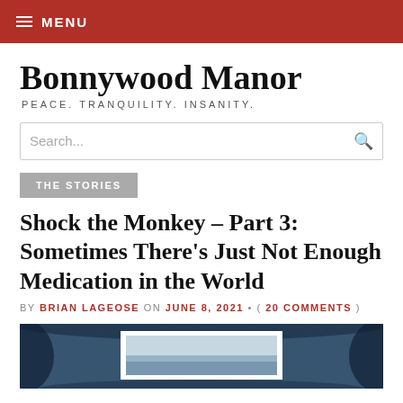MENU
Bonnywood Manor
PEACE. TRANQUILITY. INSANITY.
Search...
THE STORIES
Shock the Monkey – Part 3: Sometimes There's Just Not Enough Medication in the World
BY BRIAN LAGEOSE ON JUNE 8, 2021 • ( 20 COMMENTS )
[Figure (photo): A dark navy blue photograph with heavy ink/paint smearing around the edges, containing a white-bordered photo frame in the center showing a faded landscape or scene.]